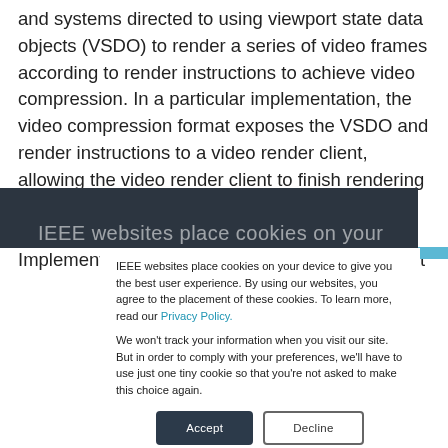and systems directed to using viewport state data objects (VSDO) to render a series of video frames according to render instructions to achieve video compression. In a particular implementation, the video compression format exposes the VSDO and render instructions to a video render client, allowing the video render client to finish rendering a sequence of video frames from different spatial locations and view transform parameters. Implementations of this video compression format
IEEE websites place cookies on your device to give you the best user experience. By using our websites, you agree to the placement of these cookies. To learn more, read our Privacy Policy.

We won't track your information when you visit our site. But in order to comply with your preferences, we'll have to use just one tiny cookie so that you're not asked to make this choice again.